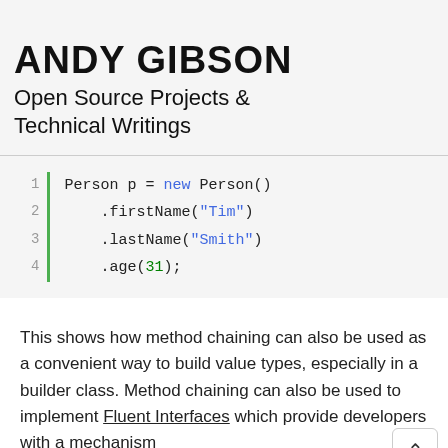Menu ≡
ANDY GIBSON
Open Source Projects & Technical Writings
[Figure (screenshot): Code snippet showing method chaining: Person p = new Person().firstName("Tim").lastName("Smith").age(31); with line numbers 1-4 and green gutter bar]
This shows how method chaining can also be used as a convenient way to build value types, especially in a builder class. Method chaining can also be used to implement Fluent Interfaces which provide developers with a mechanism